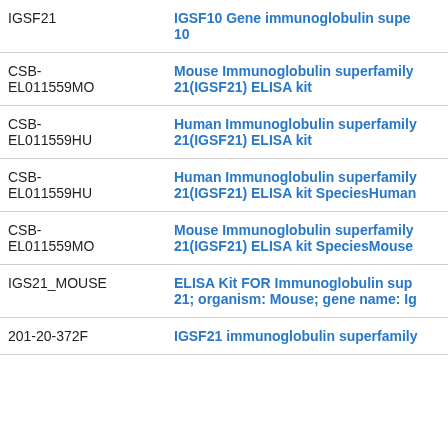| ID | Description |
| --- | --- |
| IGSF21 | IGSF10 Gene immunoglobulin superfamily member 10 |
| CSB-EL011559MO | Mouse Immunoglobulin superfamily 21(IGSF21) ELISA kit |
| CSB-EL011559HU | Human Immunoglobulin superfamily 21(IGSF21) ELISA kit |
| CSB-EL011559HU | Human Immunoglobulin superfamily 21(IGSF21) ELISA kit SpeciesHuman |
| CSB-EL011559MO | Mouse Immunoglobulin superfamily 21(IGSF21) ELISA kit SpeciesMouse |
| IGS21_MOUSE | ELISA Kit FOR Immunoglobulin superfamily member 21; organism: Mouse; gene name: Ig... |
| 201-20-372F | IGSF21 immunoglobulin superfamily... |